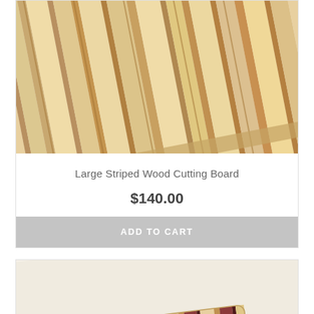[Figure (photo): Top portion of a large striped wood cutting board with light maple and darker wood stripes, slightly angled]
Large Striped Wood Cutting Board
$140.00
ADD TO CART
[Figure (photo): Bottom portion showing a second cutting board with dark stripes including deep red/maroon and lighter wood tones, slightly angled]